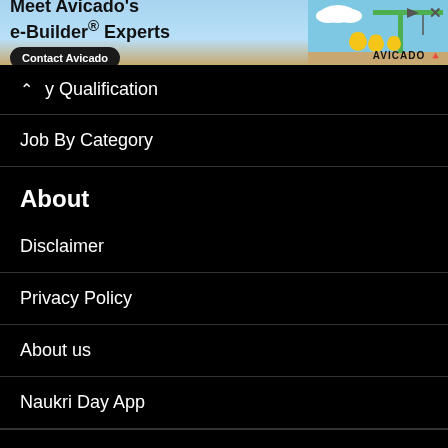[Figure (screenshot): Advertisement banner for Avicado's e-Builder Experts with Contact Avicado button and construction crane illustration]
y Qualification
Job By Category
About
Disclaimer
Privacy Policy
About us
Naukri Day App
[Figure (illustration): Social media icons row: Facebook, Twitter, YouTube, LinkedIn, Telegram]